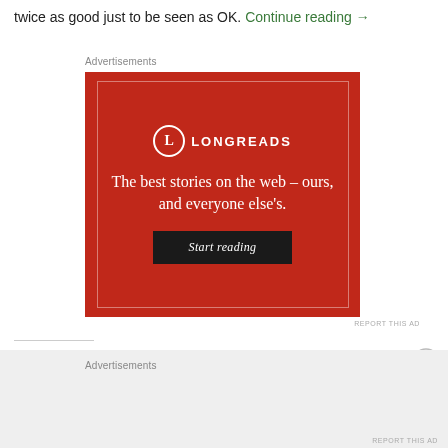twice as good just to be seen as OK. Continue reading →
Advertisements
[Figure (other): Longreads advertisement banner on red background with white text reading 'The best stories on the web – ours, and everyone else's.' and a 'Start reading' button]
REPORT THIS AD
SHARE THIS
Advertisements
REPORT THIS AD